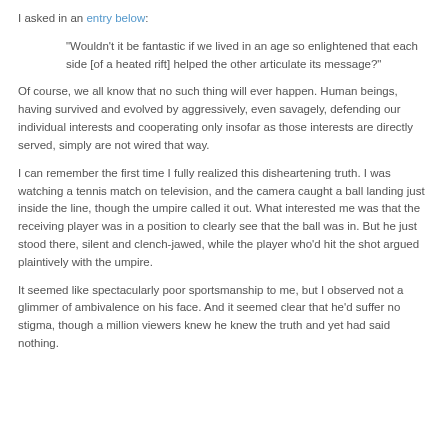I asked in an entry below:
"Wouldn't it be fantastic if we lived in an age so enlightened that each side [of a heated rift] helped the other articulate its message?"
Of course, we all know that no such thing will ever happen. Human beings, having survived and evolved by aggressively, even savagely, defending our individual interests and cooperating only insofar as those interests are directly served, simply are not wired that way.
I can remember the first time I fully realized this disheartening truth. I was watching a tennis match on television, and the camera caught a ball landing just inside the line, though the umpire called it out. What interested me was that the receiving player was in a position to clearly see that the ball was in. But he just stood there, silent and clench-jawed, while the player who'd hit the shot argued plaintively with the umpire.
It seemed like spectacularly poor sportsmanship to me, but I observed not a glimmer of ambivalence on his face. And it seemed clear that he'd suffer no stigma, though a million viewers knew he knew the truth and yet had said nothing.